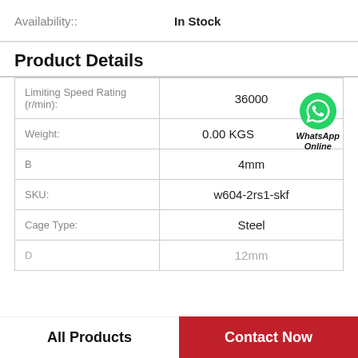Availability:: In Stock
Product Details
| Property | Value |
| --- | --- |
| Limiting Speed Rating (r/min): | 36000 |
| Weight: | 0.00 KGS |
| B | 4mm |
| SKU: | w604-2rs1-skf |
| Cage Type: | Steel |
| D | 12mm |
All Products | Contact Now